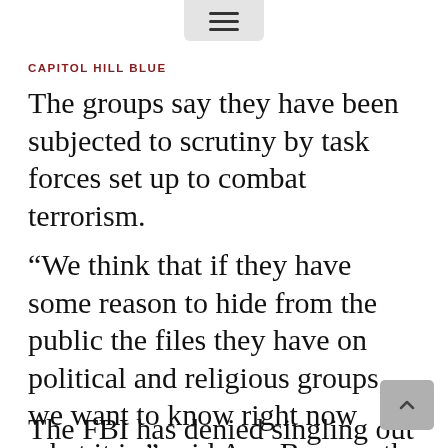CAPITOL HILL BLUE
The groups say they have been subjected to scrutiny by task forces set up to combat terrorism.
“We think that if they have some reason to hide from the public the files they have on political and religious groups, we want to know right now what it is,” said Ann Beeson, the ACLU’s associate legal director.
The FBI has denied singling out